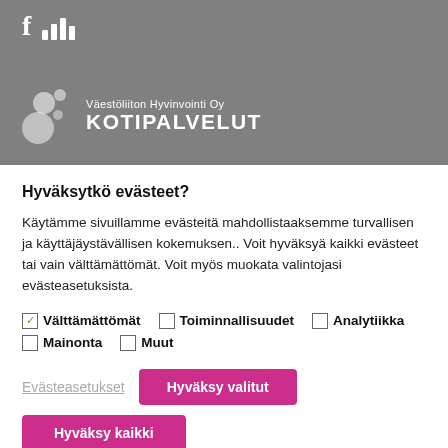[Figure (logo): Gray banner header with social media icons (f and bar chart) and Väestöliiton Hyvinvointi Oy KOTIPALVELUT logo with bubble graphic in white on gray background]
Hyväksytkö evästeet?
Käytämme sivuillamme evästeitä mahdollistaaksemme turvallisen ja käyttäjäystävällisen kokemuksen.. Voit hyväksyä kaikki evästeet tai vain välttämättömät. Voit myös muokata valintojasi evästeasetuksista.
Välttämättömät (checked)
Toiminnallisuudet (unchecked)
Analytiikka (unchecked)
Mainonta (unchecked)
Muut (unchecked)
Evästeasetukset
Hyväksy valitut
Hyväksy kaikki